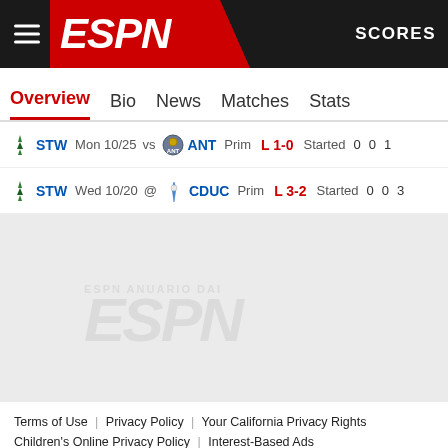ESPN — SCORES
Overview | Bio | News | Matches | Stats
| Team | Date |  | Opp | Type | Result | Status | Col1 | Col2 | Col3 |
| --- | --- | --- | --- | --- | --- | --- | --- | --- | --- |
| STW | Mon 10/25 | vs | ANT | Prim | L 1-0 | Started | 0 | 0 | 1 |
| STW | Wed 10/20 | @ | CDUC | Prim | L 3-2 | Started | 0 | 0 | 3 |
[Figure (logo): ESPN watermark logo in light gray]
Terms of Use | Privacy Policy | Your California Privacy Rights | Children's Online Privacy Policy | Interest-Based Ads | About Nielsen Measurement | Do Not Sell My Info | Contact Us | Disney Ad Sales Site | Work for ESPN
Copyright: © ESPN Enterprises, Inc. All rights reserved.